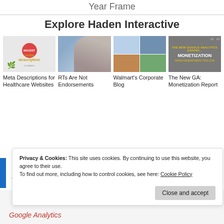Year Frame
Explore Haden Interactive
[Figure (photo): Thumbnail: Meta description graphic with red circle and yellow illustrated text]
Meta Descriptions for Healthcare Websites
[Figure (photo): Thumbnail: Person holding a smartphone]
RTs Are Not Endorsements
[Figure (photo): Thumbnail: Walmart's Corporate Blog website screenshot collage]
Walmart's Corporate Blog
[Figure (photo): Thumbnail: Dark gray graphic with yellow and white text about Google Analytics Monetization]
The New GA: Monetization Report
Privacy & Cookies: This site uses cookies. By continuing to use this website, you agree to their use.
To find out more, including how to control cookies, see here: Cookie Policy
Close and accept
Google Analytics